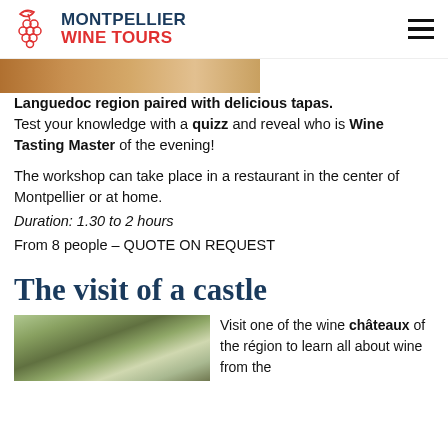MONTPELLIER WINE TOURS
[Figure (photo): Partial view of food/tapas image at top of page, cropped]
Languedoc region paired with delicious tapas. Test your knowledge with a quizz and reveal who is Wine Tasting Master of the evening!
The workshop can take place in a restaurant in the center of Montpellier or at home.
Duration: 1.30 to 2 hours
From 8 people – QUOTE ON REQUEST
The visit of a castle
[Figure (photo): Exterior view of a château/castle surrounded by trees and greenery]
Visit one of the wine châteaux of the région to learn all about wine from the